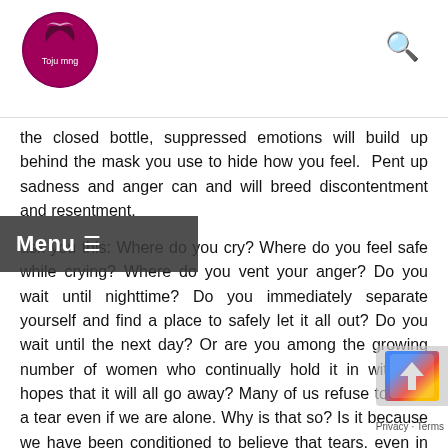Toju mng
the closed bottle, suppressed emotions will build up behind the mask you use to hide how you feel. Pent up sadness and anger can and will breed discontentment and resentment.
ask you this: Where do you cry? Where do you feel safe while crying? Where do you vent your anger? Do you wait until nighttime? Do you immediately separate yourself and find a place to safely let it all out? Do you wait until the next day? Or are you among the growing number of women who continually hold it in with the hopes that it will all go away? Many of us refuse to shed a tear even if we are alone. Why is that so? Is it because we have been conditioned to believe that tears, even in solitude, are a weak spot in our armor? We are such believers in the idea of "not letting any cracks show", that we beat ourselves at the first sign of what we perceive as weakness. Our internal narrative is abusive and toxic. We are harsh in our